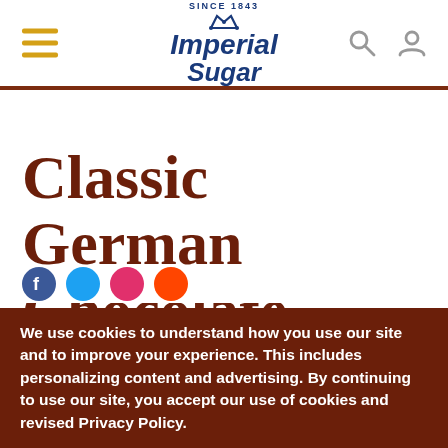[Figure (logo): Imperial Sugar logo with crown and 'Since 1843' text, navigation hamburger menu icon in gold, search and user icons in gray]
Classic German Chocolate Cupcakes
We use cookies to understand how you use our site and to improve your experience. This includes personalizing content and advertising. By continuing to use our site, you accept our use of cookies and revised Privacy Policy.